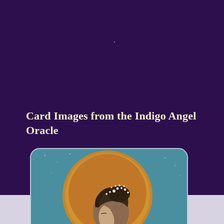Card Images from the Indigo Angel Oracle
[Figure (illustration): Partially visible oracle card showing a woman with dark hair adorned with small white flowers, depicted in profile against a large golden/amber circular orb on a teal blue background. The card has rounded corners and a subtle border. The lower portion of the card and figure extends below the purple background into a lavender-grey section at the bottom of the page.]